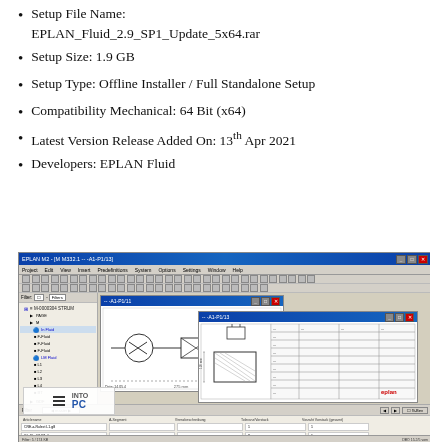Setup File Name: EPLAN_Fluid_2.9_SP1_Update_5x64.rar
Setup Size: 1.9 GB
Setup Type: Offline Installer / Full Standalone Setup
Compatibility Mechanical: 64 Bit (x64)
Latest Version Release Added On: 13th Apr 2021
Developers: EPLAN Fluid
[Figure (screenshot): Screenshot of EPLAN Fluid 2.9 SP1 software interface showing the main application window with tree panel on left, engineering drawing area in center, and data panel at bottom. The interface shows fluid engineering diagrams and schematics.]